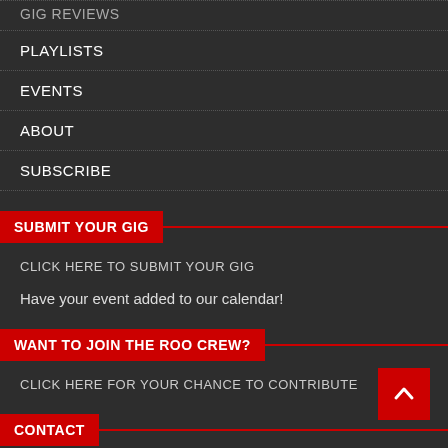GIG REVIEWS
PLAYLISTS
EVENTS
ABOUT
SUBSCRIBE
SUBMIT YOUR GIG
CLICK HERE TO SUBMIT YOUR GIG
Have your event added to our calendar!
WANT TO JOIN THE ROO CREW?
CLICK HERE FOR YOUR CHANCE TO CONTRIBUTE
CONTACT
General Enquiries –